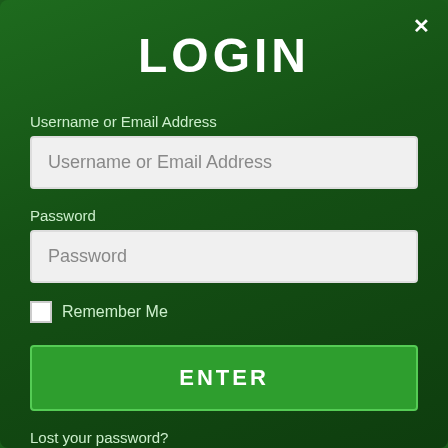LOGIN
Username or Email Address
Username or Email Address
Password
Password
Remember Me
ENTER
Lost your password?